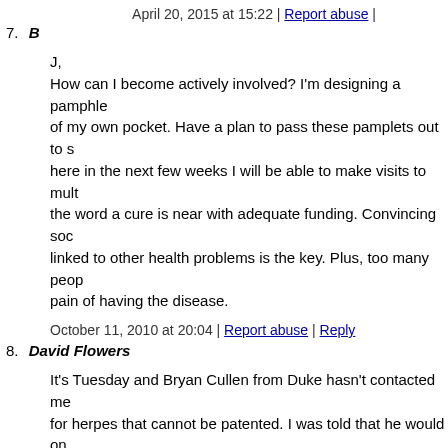April 20, 2015 at 15:22 | Report abuse |
7. B
J,
How can I become actively involved? I'm designing a pamphle of my own pocket. Have a plan to pass these pamplets out to s here in the next few weeks I will be able to make visits to mult the word a cure is near with adequate funding. Convincing soc linked to other health problems is the key. Plus, too many peop pain of having the disease.
October 11, 2010 at 20:04 | Report abuse | Reply
8. David Flowers
It's Tuesday and Bryan Cullen from Duke hasn't contacted me for herpes that cannot be patented. I was told that he would on few days before leaving on an overseas trip so this does not me curing you of herpes with a cure that can't be profitable to Duk Duke is interested in cures that are not profitable, I will continu the doubt and wait to hear from him.
Below is a copy of the email I sent to him and to Robin a disgr and testified I sent her the email along with several others who I'm still getting several contacts a day from here wanting to be anyone of herpes anymore. I am only training others to cure th